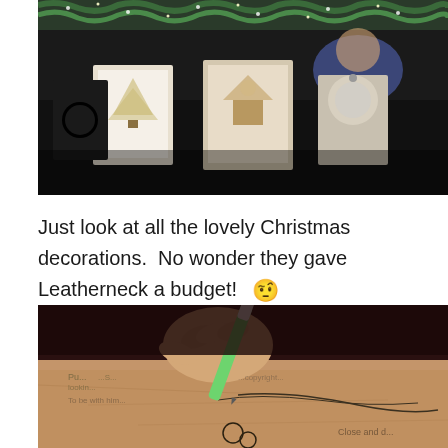[Figure (photo): TV show screenshot showing Christmas decorations including garland, framed artwork, and ornamental pieces on a dark counter/table. Person partially visible in background.]
Just look at all the lovely Christmas decorations.  No wonder they gave Leatherneck a budget!  🤨
[Figure (photo): Close-up screenshot of a hand holding a green pen/stylus writing or drawing on brown paper, with watermarked text overlay visible.]